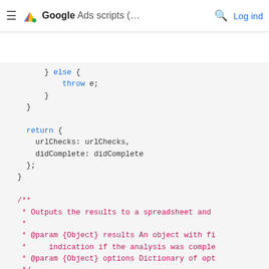Google Ads scripts (... [search] Log ind
[Figure (screenshot): Code snippet showing JavaScript: else block with throw e, return block with urlChecks and didComplete, JSDoc comment block, and function outputResults(results, options) with var spreadsheet = SpreadsheetApp.openByUrl]